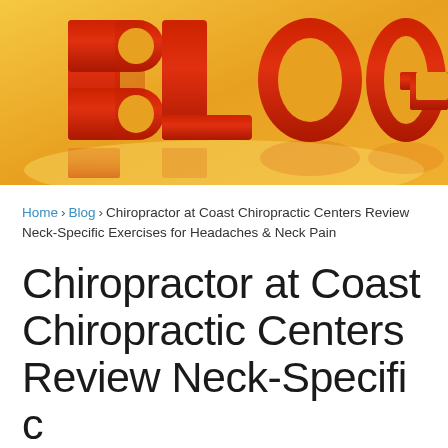[Figure (photo): 3D red block letters spelling BLOG on a warm golden-yellow reflective surface background]
Home > Blog > Chiropractor at Coast Chiropractic Centers Review Neck-Specific Exercises for Headaches & Neck Pain
Chiropractor at Coast Chiropractic Centers Review Neck-Specific